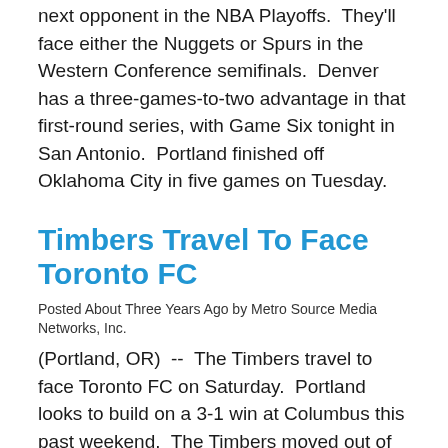next opponent in the NBA Playoffs.  They'll face either the Nuggets or Spurs in the Western Conference semifinals.  Denver has a three-games-to-two advantage in that first-round series, with Game Six tonight in San Antonio.  Portland finished off Oklahoma City in five games on Tuesday.
Timbers Travel To Face Toronto FC
Posted About Three Years Ago by Metro Source Media Networks, Inc.
(Portland, OR)  --  The Timbers travel to face Toronto FC on Saturday.  Portland looks to build on a 3-1 win at Columbus this past weekend.  The Timbers moved out of last place with the win and improved to 1-5-and-1.  They are 11th in the West with four points.
NCAA Changes Rules For Blind-